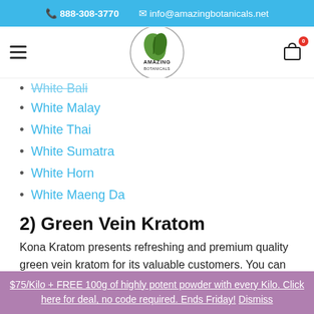☎ 888-308-3770   ✉ info@amazingbotanicals.net
[Figure (logo): Amazing Botanicals circular logo with leaf graphic]
White Bali (partial, cropped)
White Malay
White Thai
White Sumatra
White Horn
White Maeng Da
2) Green Vein Kratom
Kona Kratom presents refreshing and premium quality green vein kratom for its valuable customers. You can choose from a vast range of premium green veined kratom, these include,
$75/Kilo + FREE 100g of highly potent powder with every Kilo. Click here for deal, no code required. Ends Friday! Dismiss